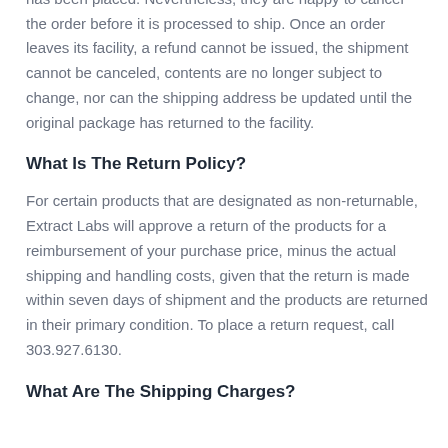Unfortunately, Extract Labs cannot modify any order once it has been placed. Nevertheless, they are happy to cancel the order before it is processed to ship. Once an order leaves its facility, a refund cannot be issued, the shipment cannot be canceled, contents are no longer subject to change, nor can the shipping address be updated until the original package has returned to the facility.
What Is The Return Policy?
For certain products that are designated as non-returnable, Extract Labs will approve a return of the products for a reimbursement of your purchase price, minus the actual shipping and handling costs, given that the return is made within seven days of shipment and the products are returned in their primary condition. To place a return request, call 303.927.6130.
What Are The Shipping Charges?